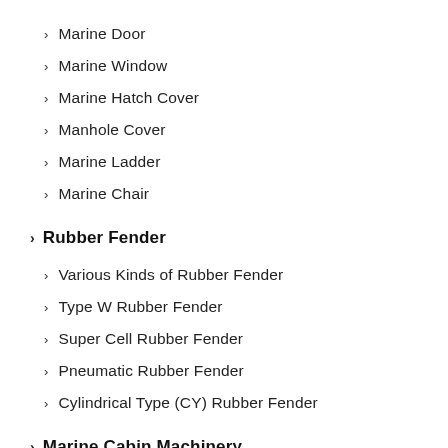Marine Door
Marine Window
Marine Hatch Cover
Manhole Cover
Marine Ladder
Marine Chair
Rubber Fender
Various Kinds of Rubber Fender
Type W Rubber Fender
Super Cell Rubber Fender
Pneumatic Rubber Fender
Cylindrical Type (CY) Rubber Fender
Marine Cabin Machinery